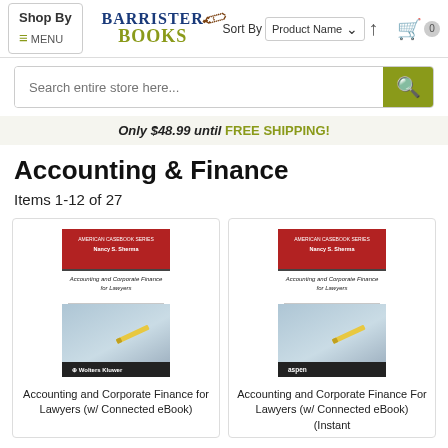Barrister Books – Accounting & Finance
Only $48.99 until FREE SHIPPING!
Accounting & Finance
Items 1-12 of 27
[Figure (screenshot): Book cover: Accounting and Corporate Finance for Lawyers (Wolters Kluwer edition)]
Accounting and Corporate Finance for Lawyers (w/ Connected eBook)
[Figure (screenshot): Book cover: Accounting and Corporate Finance For Lawyers (Aspen edition)]
Accounting and Corporate Finance For Lawyers (w/ Connected eBook) (Instant